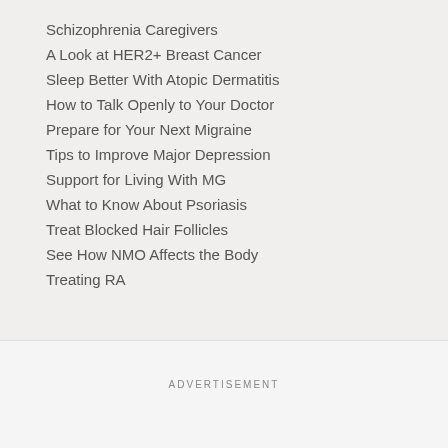Schizophrenia Caregivers
A Look at HER2+ Breast Cancer
Sleep Better With Atopic Dermatitis
How to Talk Openly to Your Doctor
Prepare for Your Next Migraine
Tips to Improve Major Depression
Support for Living With MG
What to Know About Psoriasis
Treat Blocked Hair Follicles
See How NMO Affects the Body
Treating RA
ADVERTISEMENT